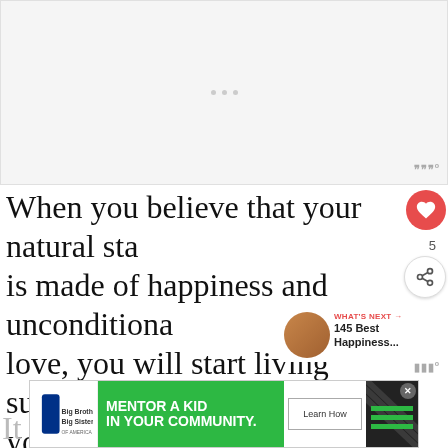[Figure (other): Top image/video placeholder area with three gray dots]
When you believe that your natural state is made of happiness and unconditional love, you will start living such a life, and you will start attracting more positive things into your life.
[Figure (other): Bottom advertisement banner: Big Brothers Big Sisters - MENTOR A KID IN YOUR COMMUNITY - Learn How]
It
you